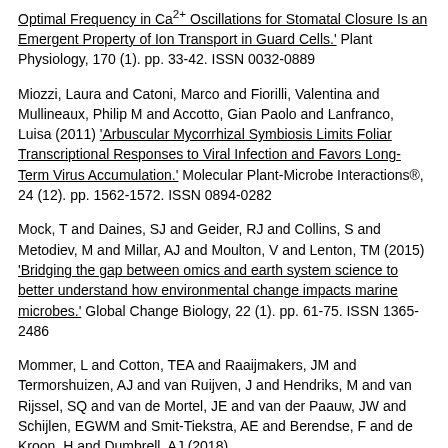Optimal Frequency in Ca2+ Oscillations for Stomatal Closure Is an Emergent Property of Ion Transport in Guard Cells.' Plant Physiology, 170 (1). pp. 33-42. ISSN 0032-0889
Miozzi, Laura and Catoni, Marco and Fiorilli, Valentina and Mullineaux, Philip M and Accotto, Gian Paolo and Lanfranco, Luisa (2011) 'Arbuscular Mycorrhizal Symbiosis Limits Foliar Transcriptional Responses to Viral Infection and Favors Long-Term Virus Accumulation.' Molecular Plant-Microbe Interactions®, 24 (12). pp. 1562-1572. ISSN 0894-0282
Mock, T and Daines, SJ and Geider, RJ and Collins, S and Metodiev, M and Millar, AJ and Moulton, V and Lenton, TM (2015) 'Bridging the gap between omics and earth system science to better understand how environmental change impacts marine microbes.' Global Change Biology, 22 (1). pp. 61-75. ISSN 1365-2486
Mommer, L and Cotton, TEA and Raaijmakers, JM and Termorshuizen, AJ and van Ruijven, J and Hendriks, M and van Rijssel, SQ and van de Mortel, JE and van der Paauw, JW and Schijlen, EGWM and Smit-Tiekstra, AE and Berendse, F and de Kroon, H and Dumbrell, AJ (2018)